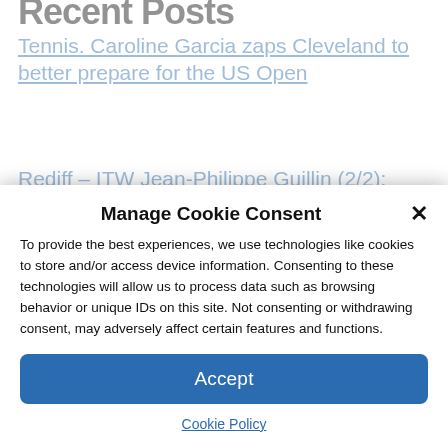Recent Posts
Tennis. Caroline Garcia zaps Cleveland to better prepare for the US Open
Rediff – ITW Jean-Philippe Guillin (2/2): "France with international windows, we are between 400 and 600,000 viewers"
PRONOS PARIS PMU E...
Manage Cookie Consent
To provide the best experiences, we use technologies like cookies to store and/or access device information. Consenting to these technologies will allow us to process data such as browsing behavior or unique IDs on this site. Not consenting or withdrawing consent, may adversely affect certain features and functions.
Accept
Cookie Policy